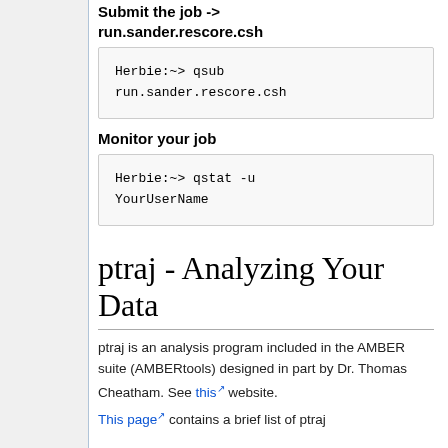Submit the job -> run.sander.rescore.csh
Herbie:~> qsub run.sander.rescore.csh
Monitor your job
Herbie:~> qstat -u YourUserName
ptraj - Analyzing Your Data
ptraj is an analysis program included in the AMBER suite (AMBERtools) designed in part by Dr. Thomas Cheatham. See this website.
This page contains a brief list of ptraj